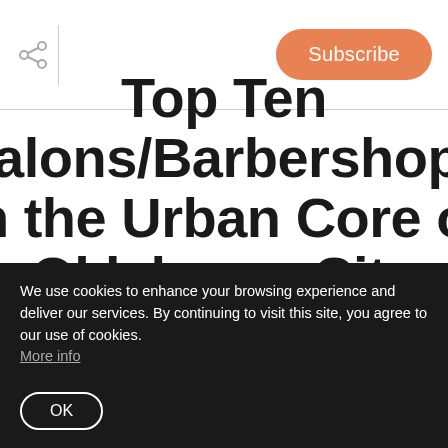Subscribe
Top Ten Salons/Barbershops in the Urban Core of Oklahoma City
We use cookies to enhance your browsing experience and deliver our services. By continuing to visit this site, you agree to our use of cookies. More info
OK